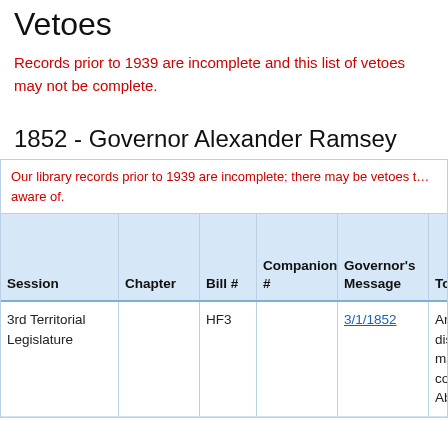Vetoes
Records prior to 1939 are incomplete and this list of vetoes may not be complete.
1852 - Governor Alexander Ramsey
| Session | Chapter | Bill # | Companion # | Governor's Message | Topic | Full or Line (# of lines) |
| --- | --- | --- | --- | --- | --- | --- |
| 3rd Territorial Legislature |  | HF3 |  | 3/1/1852 | An act to dissolve the marriage contract of Abram | Full |